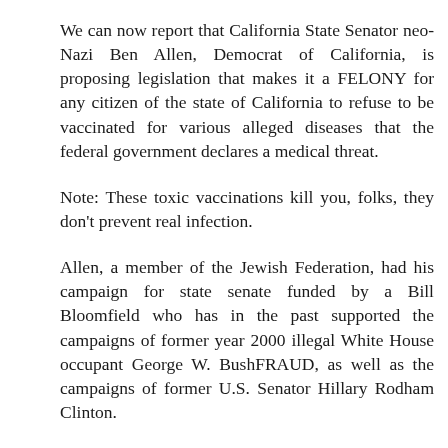We can now report that California State Senator neo-Nazi Ben Allen, Democrat of California, is proposing legislation that makes it a FELONY for any citizen of the state of California to refuse to be vaccinated for various alleged diseases that the federal government declares a medical threat.
Note: These toxic vaccinations kill you, folks, they don't prevent real infection.
Allen, a member of the Jewish Federation, had his campaign for state senate funded by a Bill Bloomfield who has in the past supported the campaigns of former year 2000 illegal White House occupant George W. BushFRAUD, as well as the campaigns of former U.S. Senator Hillary Rodham Clinton.
Bloomfield is also very close to the American Medical Association, which is set to accrue billions of dollars of profits through this bogus vaccination program.
Allen's legislation is totally UN-CONSTITUTIONAL and will